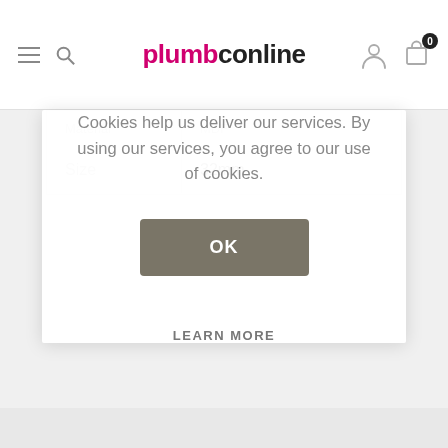[Figure (screenshot): PlumbcoOnline website header with hamburger menu, search icon, logo, user account icon, and cart icon with badge showing 0]
| Material | MDF |
| Size | 32mm |
Cookies help us deliver our services. By using our services, you agree to our use of cookies.
OK
LEARN MORE